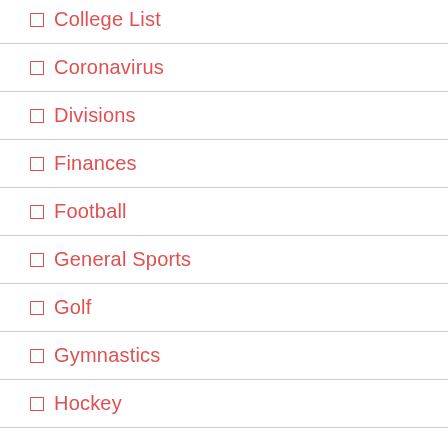College List
Coronavirus
Divisions
Finances
Football
General Sports
Golf
Gymnastics
Hockey